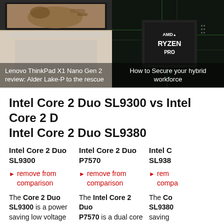[Figure (photo): Lenovo ThinkPad X1 Nano Gen 2 laptop showing cheetah image on screen]
Lenovo ThinkPad X1 Nano Gen 2 review: Alder Lake-P to the rescue
[Figure (photo): AMD Ryzen Pro processor chip close-up]
How to Secure your hybrid workforce
Intel Core 2 Duo SL9300 vs Intel Core 2 D Intel Core 2 Duo SL9380
Intel Core 2 Duo SL9300
Intel Core 2 Duo P7570
Intel C SL938
remove from comparison
remove from comparison
rem compa
The Core 2 Duo SL9300 is a power saving low voltage
The Intel Core 2 Duo P7570 is a dual core processor for laptops. It
The Co SL9380 saving